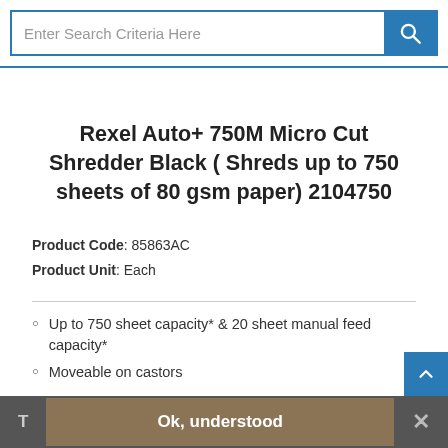Enter Search Criteria Here
Rexel Auto+ 750M Micro Cut Shredder Black ( Shreds up to 750 sheets of 80 gsm paper) 2104750
Product Code: 85863AC
Product Unit: Each
Up to 750 sheet capacity* & 20 sheet manual feed capacity*
Moveable on castors
T  Ok, understood  ✕